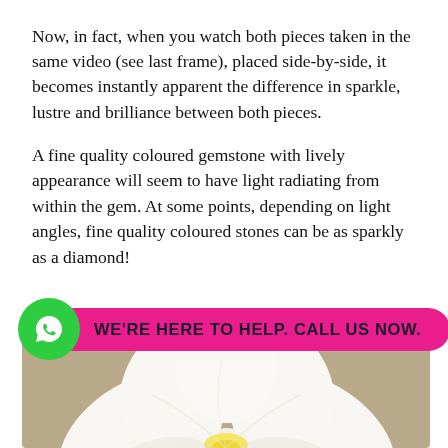Now, in fact, when you watch both pieces taken in the same video (see last frame), placed side-by-side, it becomes instantly apparent the difference in sparkle, lustre and brilliance between both pieces.
A fine quality coloured gemstone with lively appearance will seem to have light radiating from within the gem. At some points, depending on light angles, fine quality coloured stones can be as sparkly as a diamond!
[Figure (infographic): Green WhatsApp phone icon circle with pink/magenta rounded rectangle button reading WE'RE HERE TO HELP. CALL US NOW.]
[Figure (photo): Close-up photo of a white plumeria (frangipani) flower with yellow centre, on a beige/tan background.]